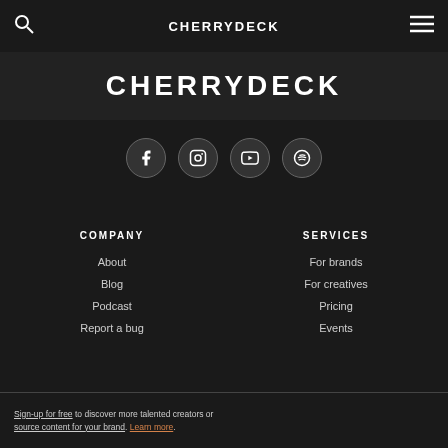CHERRYDECK
[Figure (logo): CHERRYDECK logo in large bold white text on dark background]
[Figure (infographic): Four social media icons in circles: Facebook, Instagram, YouTube, Spotify]
COMPANY
About
Blog
Podcast
Report a bug
SERVICES
For brands
For creatives
Pricing
Events
Sign-up for free to discover more talented creators or source content for your brand. Learn more.